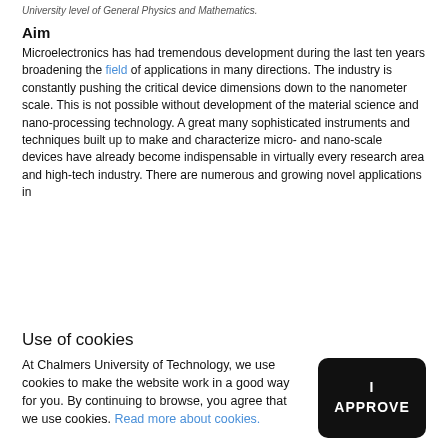University level of General Physics and Mathematics.
Aim
Microelectronics has had tremendous development during the last ten years broadening the field of applications in many directions. The industry is constantly pushing the critical device dimensions down to the nanometer scale. This is not possible without development of the material science and nano-processing technology. A great many sophisticated instruments and techniques built up to make and characterize micro- and nano-scale devices have already become indispensable in virtually every research area and high-tech industry. There are numerous and growing novel applications in
Use of cookies
At Chalmers University of Technology, we use cookies to make the website work in a good way for you. By continuing to browse, you agree that we use cookies. Read more about cookies.